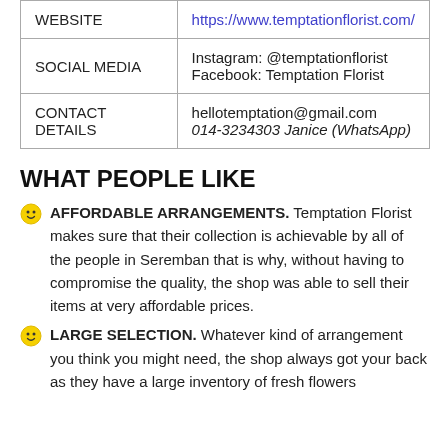|  |  |
| --- | --- |
| WEBSITE | https://www.temptationflorist.com/ |
| SOCIAL MEDIA | Instagram: @temptationflorist
Facebook: Temptation Florist |
| CONTACT DETAILS | hellotemptation@gmail.com
014-3234303 Janice (WhatsApp) |
WHAT PEOPLE LIKE
AFFORDABLE ARRANGEMENTS. Temptation Florist makes sure that their collection is achievable by all of the people in Seremban that is why, without having to compromise the quality, the shop was able to sell their items at very affordable prices.
LARGE SELECTION. Whatever kind of arrangement you think you might need, the shop always got your back as they have a large inventory of fresh flowers